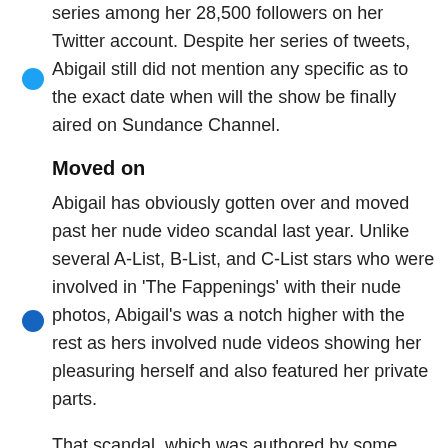series among her 28,500 followers on her Twitter account. Despite her series of tweets, Abigail still did not mention any specific as to the exact date when will the show be finally aired on Sundance Channel.
Moved on
Abigail has obviously gotten over and moved past her nude video scandal last year. Unlike several A-List, B-List, and C-List stars who were involved in 'The Fappenings' with their nude photos, Abigail's was a notch higher with the rest as hers involved nude videos showing her pleasuring herself and also featured her private parts.
That scandal, which was authored by some hackers who have yet to be identified and apprehended as of